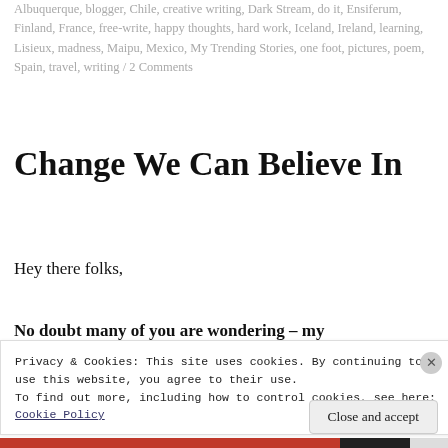Albuquerque, blogger, Chile, creative writing, Dark Stream, do it, Ensiferum, Finland, France, free-write, happy thoughts, hard work, Iceland, Ireland, learning, Lisieux, madness, Maipu, Mexico, My Trending Stories, one foot, pictures, poem, Spain, travel, writing / 2 Comments
Change We Can Believe In
Hey there folks,
No doubt many of you are wondering – my
Privacy & Cookies: This site uses cookies. By continuing to use this website, you agree to their use.
To find out more, including how to control cookies, see here:
Cookie Policy
Close and accept